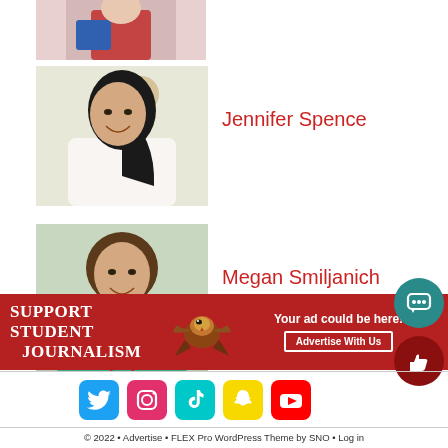[Figure (photo): Top partial photo of a person in red top holding a blue book/folder, cropped at top]
[Figure (photo): Photo of Jennifer Spence smiling, wearing white top with dark hair]
Jennifer Spence
[Figure (photo): Photo of Megan Smiljanich smiling, wearing a teal/green sweater with lanyard]
Megan Smiljanich
[Figure (infographic): Red banner: SUPPORT STUDENT JOURNALISM with eagle mascot logo and Advertise With Us button]
[Figure (infographic): Social media icons row: Twitter, Instagram, TikTok, Snapchat, YouTube]
© 2022 • Advertise • FLEX Pro WordPress Theme by SNO • Log in